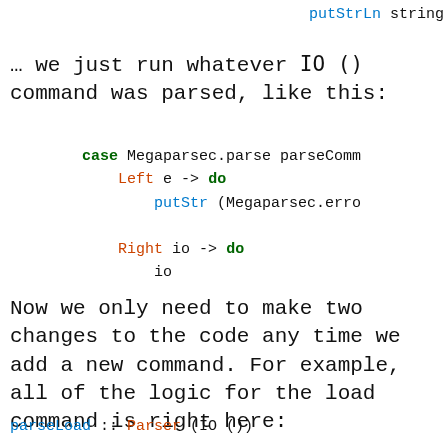putStrLn string
… we just run whatever IO () command was parsed, like this:
case Megaparsec.parse parseComm
        Left e -> do
            putStr (Megaparsec.erro

        Right io -> do
            io
Now we only need to make two changes to the code any time we add a new command. For example, all of the logic for the load command is right here:
parseLoad :: Parser (IO ())